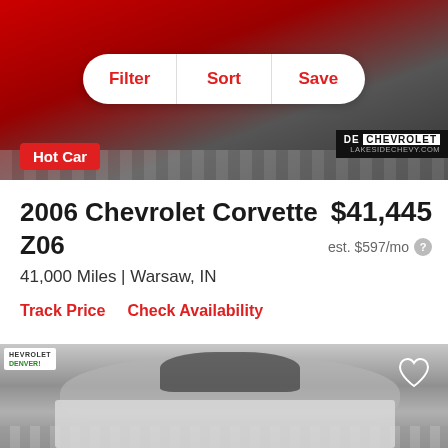[Figure (photo): Red Chevrolet Corvette at a dealership, top portion showing front end, with Filter/Sort/Save navigation bar and Hot Car badge overlay]
2006 Chevrolet Corvette Z06
$41,445
est. $597/mo
41,000 Miles | Warsaw, IN
Track Price   Check Availability
[Figure (photo): Silver Chevrolet Corvette Z06 photographed in a dealership showroom with checkered floor, heart/save icon in upper right]